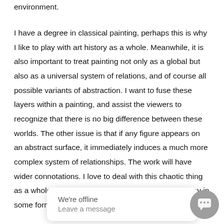environment.
I have a degree in classical painting, perhaps this is why I like to play with art history as a whole. Meanwhile, it is also important to treat painting not only as a global but also as a universal system of relations, and of course all possible variants of abstraction. I want to fuse these layers within a painting, and assist the viewers to recognize that there is no big difference between these worlds. The other issue is that if any figure appears on an abstract surface, it immediately induces a much more complex system of relationships. The work will have wider connotations. I love to deal with this chaotic thing as a whole, not just the painting, but anything that may in some form contribute to newer insights.
[Figure (screenshot): Chat widget overlay showing 'We're offline' and 'Leave a message' text in a white rounded box, with a grey circular chat button icon on the right.]